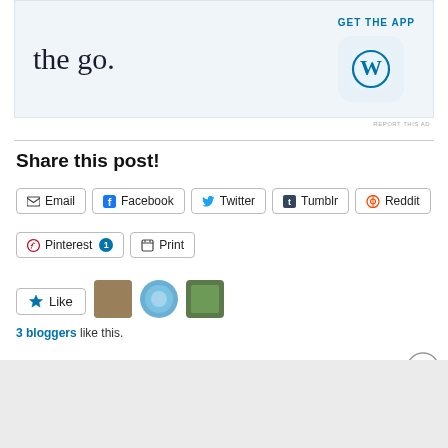[Figure (advertisement): WordPress app ad banner with 'the go.' text and GET THE APP button with WordPress icon]
REPORT THIS AD
Share this post!
Email
Facebook
Twitter
Tumblr
Reddit
Pinterest 1
Print
Like
3 bloggers like this.
[Figure (advertisement): DuckDuckGo ad banner: Search, browse, and email with more privacy. All in One Free App]